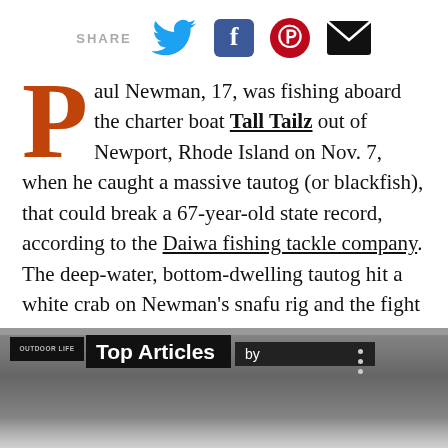[Figure (infographic): Share bar with SHARE label and icons for Twitter (blue bird), Facebook (blue f), Pinterest (red P), and email (black envelope)]
Paul Newman, 17, was fishing aboard the charter boat Tall Tailz out of Newport, Rhode Island on Nov. 7, when he caught a massive tautog (or blackfish), that could break a 67-year-old state record, according to the Daiwa fishing tackle company. The deep-water, bottom-dwelling tautog hit a white crab on Newman's snafu rig and the fight was on.
[Figure (screenshot): Outdoor Life Top Articles widget with logo and 'by' subtitle on dark blurred background]